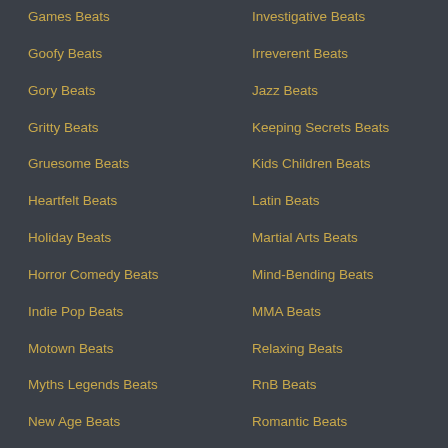Games Beats
Goofy Beats
Gory Beats
Gritty Beats
Gruesome Beats
Heartfelt Beats
Holiday Beats
Horror Comedy Beats
Indie Pop Beats
Motown Beats
Myths Legends Beats
New Age Beats
Investigative Beats
Irreverent Beats
Jazz Beats
Keeping Secrets Beats
Kids Children Beats
Latin Beats
Martial Arts Beats
Mind-Bending Beats
MMA Beats
Relaxing Beats
RnB Beats
Romantic Beats